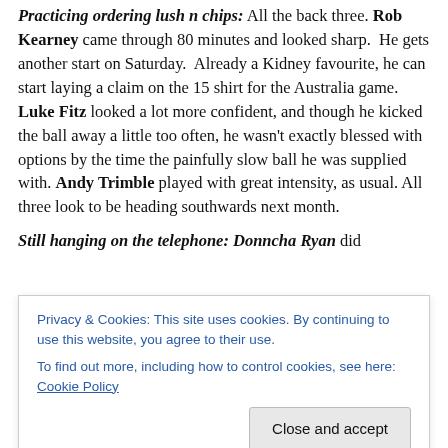Practicing ordering lush n chips: All the back three. Rob Kearney came through 80 minutes and looked sharp. He gets another start on Saturday. Already a Kidney favourite, he can start laying a claim on the 15 shirt for the Australia game. Luke Fitz looked a lot more confident, and though he kicked the ball away a little too often, he wasn't exactly blessed with options by the time the painfully slow ball he was supplied with. Andy Trimble played with great intensity, as usual. All three look to be heading southwards next month.
Still hanging on the telephone: Donncha Ryan did
Privacy & Cookies: This site uses cookies. By continuing to use this website, you agree to their use. To find out more, including how to control cookies, see here: Cookie Policy
Close and accept
did was miss one throw. We need to see some of the old